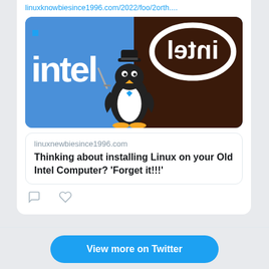linuxknowbiesince1996.com/2022/foo/2orth...
[Figure (illustration): Intel logo split image: left half shows standard Intel logo on blue background with a Linux Tux penguin mascot in the center, right half shows mirrored Intel logo on dark brown/chocolate background]
linuxnewbiesince1996.com
Thinking about installing Linux on your Old Intel Computer? ‘Forget it!!!’
View more on Twitter
Learn more about privacy on Twitter